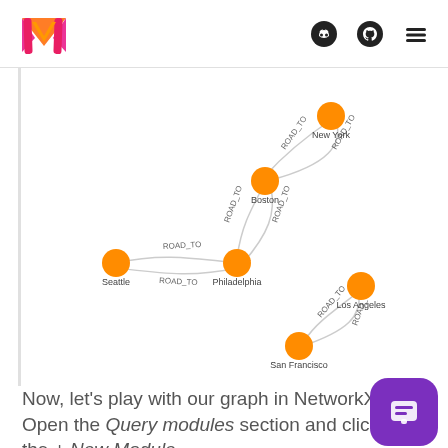Memgraph logo with Discord, GitHub, and menu icons
[Figure (network-graph): A network graph showing US cities connected by ROAD_TO edges. Nodes: New York, Boston, Philadelphia, Seattle, Los Angeles, San Francisco. Edges labeled ROAD_TO connecting them with curved arrows.]
Now, let's play with our graph in NetworkX. Open the Query modules section and click on the + New Module